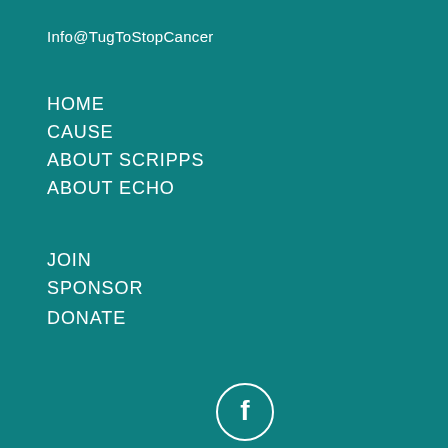Info@TugToStopCancer
HOME
CAUSE
ABOUT SCRIPPS
ABOUT ECHO
JOIN
SPONSOR
DONATE
[Figure (logo): Facebook icon - circular outline with white 'f' letter on teal background]